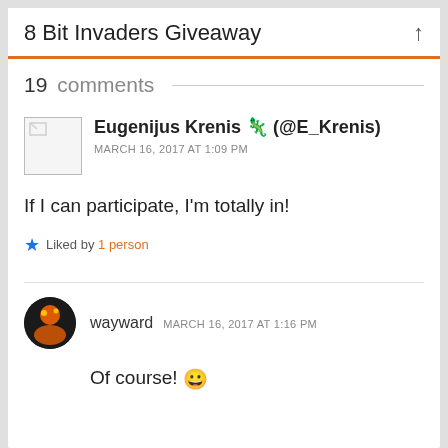8 Bit Invaders Giveaway
19 comments
Eugenijus Krenis 🦎 (@E_Krenis)
MARCH 16, 2017 AT 1:09 PM
If I can participate, I'm totally in!
Liked by 1 person
wayward   MARCH 16, 2017 AT 1:16 PM
Of course! 😀